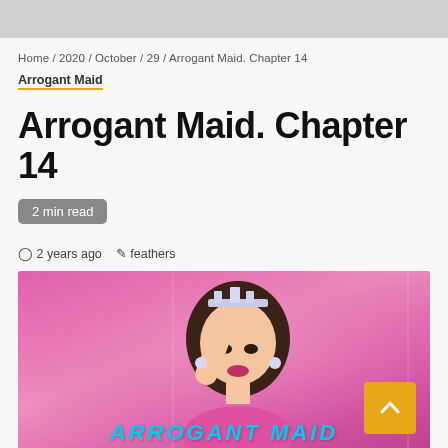Home / 2020 / October / 29 / Arrogant Maid. Chapter 14
Arrogant Maid
Arrogant Maid. Chapter 14
2 min read
2 years ago  feathers
[Figure (photo): A young woman wearing a tiara and pink outfit poses against a pink background. Overlay text reads 'ARROGANT MAID' in cyan. A gold scroll-to-top button with an up-arrow is visible in the bottom-right corner.]